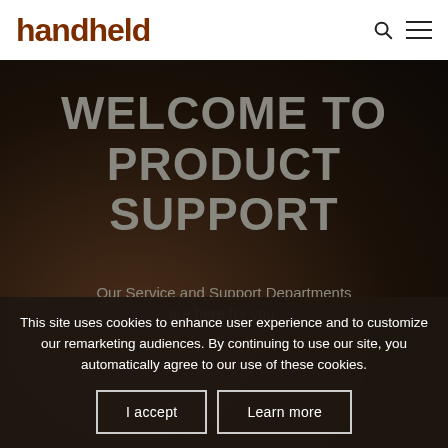handheld
WELCOME TO PRODUCT SUPPORT
Our Service and Support Departments are here for you.
This site uses cookies to enhance user experience and to customize our remarketing audiences. By continuing to use our site, you automatically agree to our use of these cookies.
I accept | Learn more